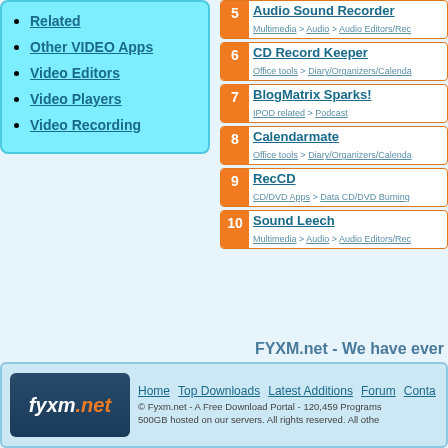Related
Other VIDEO Apps
Video Editors
Video Players
Video Recording
5 Audio Sound Recorder - Multimedia > Audio > Audio Editors/Rec
6 CD Record Keeper - Office tools > Diary/Organizers/Calenda
7 BlogMatrix Sparks! - IPOD related > Podcast
8 Calendarmate - Office tools > Diary/Organizers/Calenda
9 RecCD - CD/DVD Apps > Data CD/DVD Burning
10 Sound Leech - Multimedia > Audio > Audio Editors/Rec
FYXM.net - We have ever
Home  Top Downloads  Latest Additions  Forum  Conta  © Fyxm.net - A Free Download Portal - 120,459 Programs 500GB hosted on our servers. All rights reserved. All othe